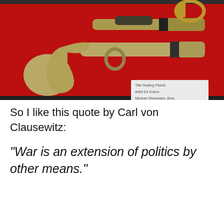[Figure (photo): A museum display case with red velvet lining containing antique dueling pistols or flintlock guns made of brass/bone material, with a white label card visible in the bottom right corner listing title, artist, medium, and date information.]
So I like this quote by Carl von Clausewitz:
“War is an extension of politics by other means.”